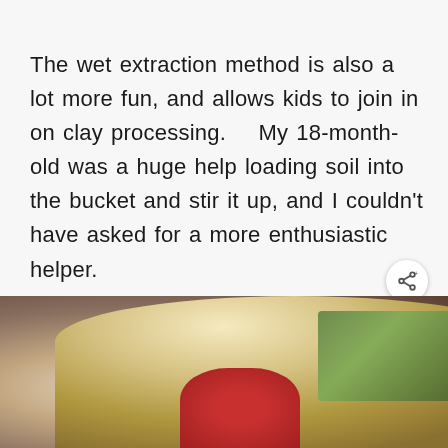The wet extraction method is also a lot more fun, and allows kids to join in on clay processing.   My 18-month-old was a huge help loading soil into the bucket and stir it up, and I couldn't have asked for a more enthusiastic helper.
[Figure (photo): Child with blonde hair bending over, wearing a red shirt, with green foliage in the background]